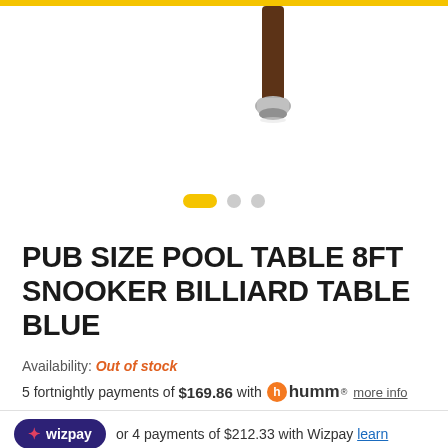[Figure (photo): Partial view of a pool table leg/foot on a white background, product photo cropped at top]
PUB SIZE POOL TABLE 8FT SNOOKER BILLIARD TABLE BLUE
Availability: Out of stock
5 fortnightly payments of $169.86 with humm® more info
or 4 payments of $212.33 with Wizpay learn